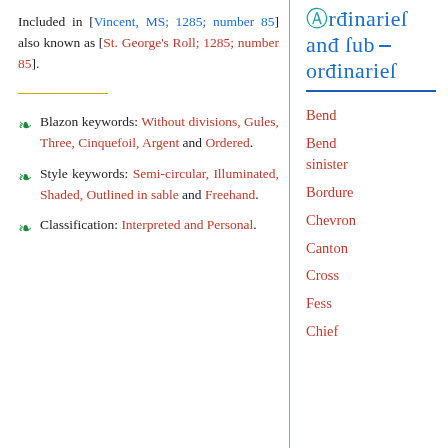Included in [Vincent, MS; 1285; number 85] also known as [St. George's Roll; 1285; number 85].
Blazon keywords: Without divisions, Gules, Three, Cinquefoil, Argent and Ordered.
Style keywords: Semi-circular, Illuminated, Shaded, Outlined in sable and Freehand.
Classification: Interpreted and Personal.
Ordinaries and sub-ordinaries
Bend
Bend sinister
Bordure
Chevron
Canton
Cross
Fess
Chief